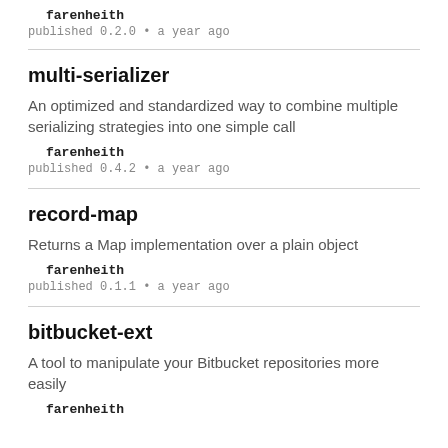farenheith
published 0.2.0 • a year ago
multi-serializer
An optimized and standardized way to combine multiple serializing strategies into one simple call
farenheith
published 0.4.2 • a year ago
record-map
Returns a Map implementation over a plain object
farenheith
published 0.1.1 • a year ago
bitbucket-ext
A tool to manipulate your Bitbucket repositories more easily
farenheith